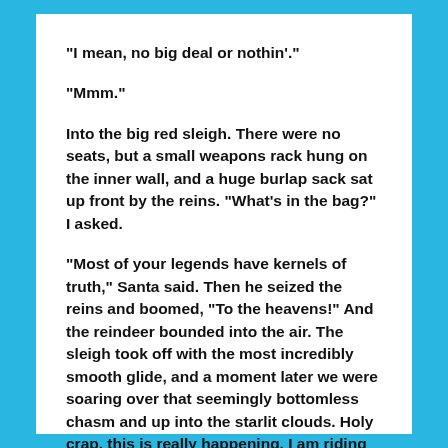“I mean, no big deal or nothin’.”
“Mmm.”
Into the big red sleigh. There were no seats, but a small weapons rack hung on the inner wall, and a huge burlap sack sat up front by the reins. “What’s in the bag?” I asked.
“Most of your legends have kernels of truth,” Santa said. Then he seized the reins and boomed, “To the heavens!” And the reindeer bounded into the air. The sleigh took off with the most incredibly smooth glide, and a moment later we were soaring over that seemingly bottomless chasm and up into the starlit clouds. Holy crap, this is really happening. I am riding in Santa’s sleigh.